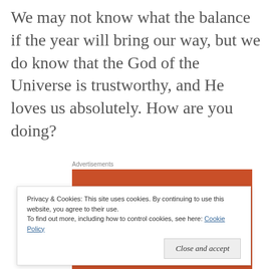We may not know what the balance if the year will bring our way, but we do know that the God of the Universe is trustworthy, and He loves us absolutely. How are you doing?
Advertisements
[Figure (other): Orange advertisement banner with white bold text reading 'Search, browse, and email with more privacy.']
Privacy & Cookies: This site uses cookies. By continuing to use this website, you agree to their use.
To find out more, including how to control cookies, see here: Cookie Policy